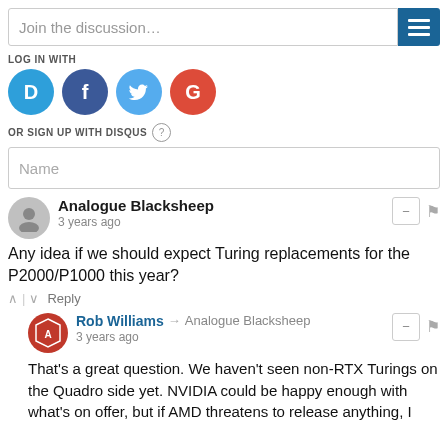[Figure (screenshot): Comment form with 'Join the discussion...' text input and hamburger menu button in blue]
LOG IN WITH
[Figure (illustration): Social login icons: Disqus (D), Facebook (F), Twitter bird, Google (G)]
OR SIGN UP WITH DISQUS ?
[Figure (screenshot): Name text input field]
Analogue Blacksheep
3 years ago
Any idea if we should expect Turing replacements for the P2000/P1000 this year?
Rob Williams → Analogue Blacksheep
3 years ago
That's a great question. We haven't seen non-RTX Turings on the Quadro side yet. NVIDIA could be happy enough with what's on offer, but if AMD threatens to release anything, I